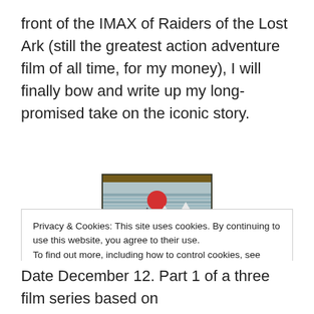front of the IMAX of Raiders of the Lost Ark (still the greatest action adventure film of all time, for my money), I will finally bow and write up my long-promised take on the iconic story.
[Figure (illustration): Book cover of The Hobbit by J.R.R. Tolkien, showing mountains, a red sun, and trees in a vintage illustrated style]
Privacy & Cookies: This site uses cookies. By continuing to use this website, you agree to their use.
To find out more, including how to control cookies, see here: Cookie Policy
Date December 12. Part 1 of a three film series based on